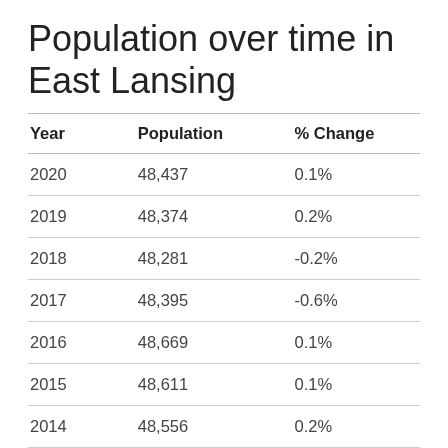Population over time in East Lansing
| Year | Population | % Change |
| --- | --- | --- |
| 2020 | 48,437 | 0.1% |
| 2019 | 48,374 | 0.2% |
| 2018 | 48,281 | -0.2% |
| 2017 | 48,395 | -0.6% |
| 2016 | 48,669 | 0.1% |
| 2015 | 48,611 | 0.1% |
| 2014 | 48,556 | 0.2% |